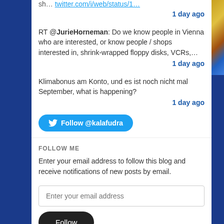sh… twitter.com/i/web/status/1…
1 day ago
RT @JurieHorneman: Do we know people in Vienna who are interested, or know people / shops interested in, shrink-wrapped floppy disks, VCRs,…
1 day ago
Klimabonus am Konto, und es ist noch nicht mal September, what is happening?
1 day ago
[Figure (other): Follow @kalafudra Twitter button]
FOLLOW ME
Enter your email address to follow this blog and receive notifications of new posts by email.
[Figure (other): Enter your email address input field]
[Figure (other): Follow submit button]